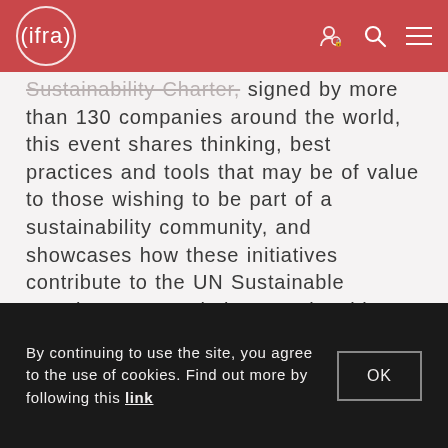ifra
Sustainability Charter, signed by more than 130 companies around the world, this event shares thinking, best practices and tools that may be of value to those wishing to be part of a sustainability community, and showcases how these initiatives contribute to the UN Sustainable Development Goals in an actionable way.
REGISTER FOR THE WEBINAR ▶
By continuing to use the site, you agree to the use of cookies. Find out more by following this link  OK